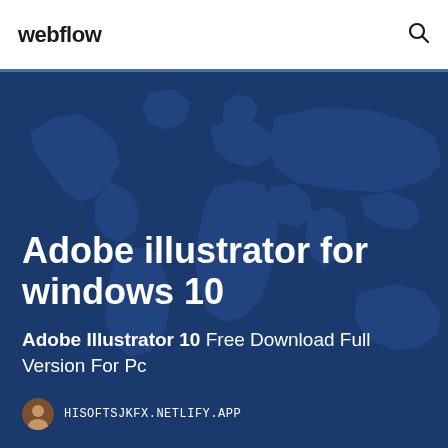webflow
[Figure (illustration): World map illustration in dark blue tones overlaid on a deep navy hero background, showing continents in a slightly lighter blue shade]
Adobe illustrator for windows 10
Adobe Illustrator 10 Free Download Full Version For Pc
HISOFTSJKFX.NETLIFY.APP